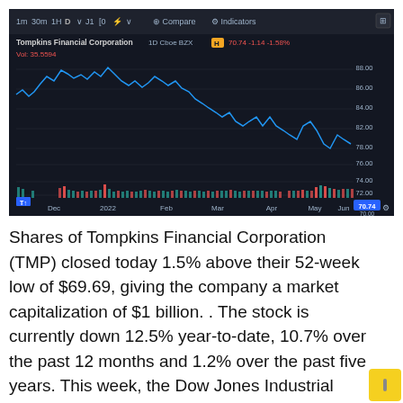[Figure (continuous-plot): TradingView stock chart for Tompkins Financial Corporation (TMP), 1D, Cboe BZX. Shows price action from December 2021 through June 2022. Price starts around 86, peaks near 88, then trends downward to approximately 70-76 range by June. Volume bars shown at bottom in red/green. Y-axis shows price levels from ~70 to ~88. X-axis shows months: Dec, 2022, Feb, Mar, Apr, May, Jun. Current price label shows 70.74 in blue highlight.]
Shares of Tompkins Financial Corporation (TMP) closed today 1.5% above their 52-week low of $69.69, giving the company a market capitalization of $1 billion. . The stock is currently down 12.5% year-to-date, 10.7% over the past 12 months and 1.2% over the past five years. This week, the Dow Jones Industrial Average fe